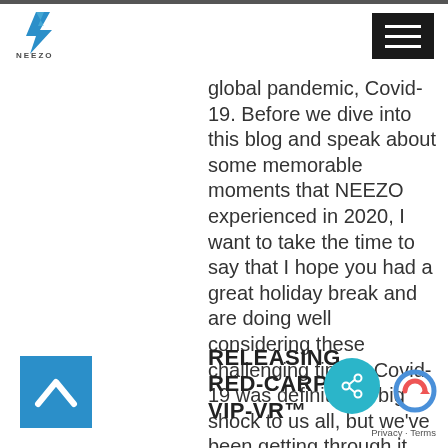[Figure (logo): NEEZO Studios logo with stylized N arrow icon in blue and grey, with text NEEZO STUDIOS below]
[Figure (other): Black hamburger menu button with three white horizontal lines]
global pandemic, Covid-19. Before we dive into this blog and speak about some memorable moments that NEEZO experienced in 2020, I want to take the time to say that I hope you had a great holiday break and are doing well considering these challenging times. Covid-19 was definitely a big shock to us all, but we've been getting through it and will get to a point where things can slowly start going back to normal.
RELEASING RED-CARPET VIP-VR™
[Figure (other): Blue back-to-top button with white chevron arrow]
[Figure (other): Teal circular share button with share icon]
Privacy · Terms